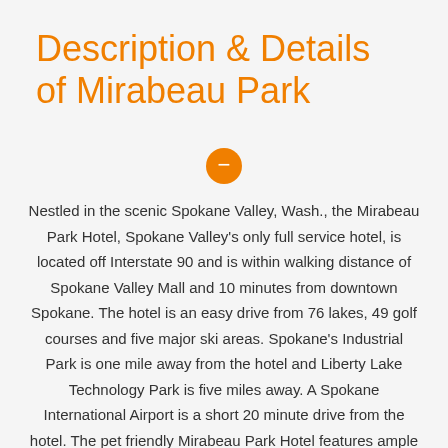Description & Details of Mirabeau Park
Nestled in the scenic Spokane Valley, Wash., the Mirabeau Park Hotel, Spokane Valley's only full service hotel, is located off Interstate 90 and is within walking distance of Spokane Valley Mall and 10 minutes from downtown Spokane. The hotel is an easy drive from 76 lakes, 49 golf courses and five major ski areas. Spokane's Industrial Park is one mile away from the hotel and Liberty Lake Technology Park is five miles away. A Spokane International Airport is a short 20 minute drive from the hotel. The pet friendly Mirabeau Park Hotel features ample complimentary parking, a business center, gift shop, and boasts an impressive 19,000 square feet of